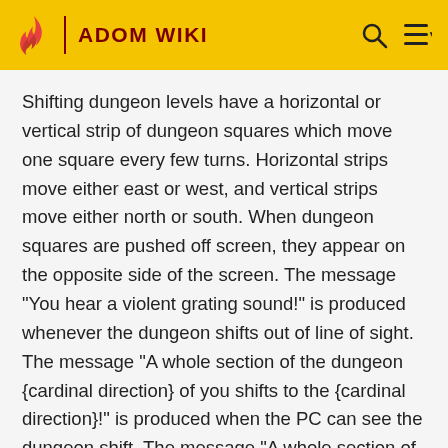ADOM WIKI
Shifting dungeon levels have a horizontal or vertical strip of dungeon squares which move one square every few turns. Horizontal strips move either east or west, and vertical strips move either north or south. When dungeon squares are pushed off screen, they appear on the opposite side of the screen. The message "You hear a violent grating sound!" is produced whenever the dungeon shifts out of line of sight. The message "A whole section of the dungeon {cardinal direction} of you shifts to the {cardinal direction}!" is produced when the PC can see the dungeon shift. The message "A whole section of dungeon shifts to the {cardinal direction}! Everything is shaking violently!" is produced when the PC is shifted.